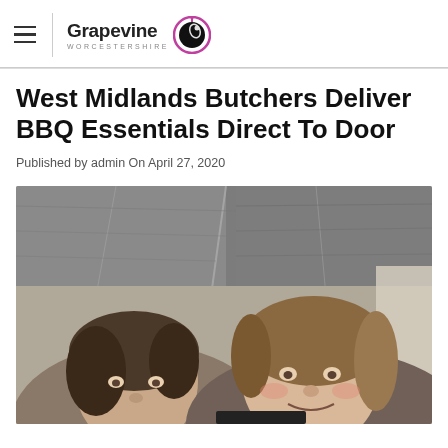Grapevine Worcestershire
West Midlands Butchers Deliver BBQ Essentials Direct To Door
Published by admin On April 27, 2020
[Figure (photo): Selfie photo of two women taken from below, with a wooden ceiling/roof visible above them. The woman on the left has dark hair and is looking at the camera. The woman on the right has light brown hair and is smiling.]